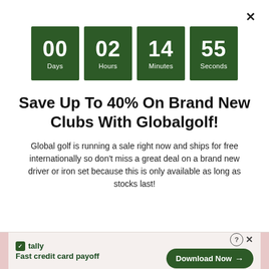[Figure (infographic): Countdown timer showing 00 Days, 02 Hours, 14 Minutes, 55 Seconds in dark green boxes]
Save Up To 40% On Brand New Clubs With Globalgolf!
Global golf is running a sale right now and ships for free internationally so don't miss a great deal on a brand new driver or iron set because this is only available as long as stocks last!
[Figure (infographic): Tally app advertisement banner with logo, tagline 'Fast credit card payoff' and Download Now button]